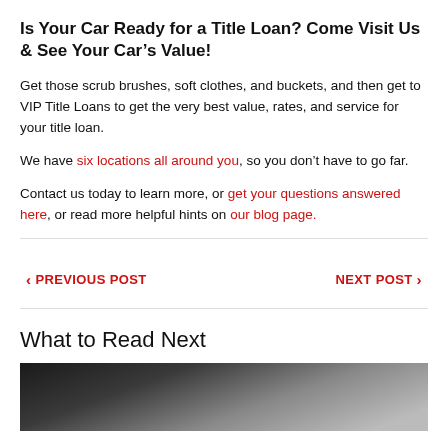Is Your Car Ready for a Title Loan? Come Visit Us & See Your Car’s Value!
Get those scrub brushes, soft clothes, and buckets, and then get to VIP Title Loans to get the very best value, rates, and service for your title loan.
We have six locations all around you, so you don’t have to go far.
Contact us today to learn more, or get your questions answered here, or read more helpful hints on our blog page.
< PREVIOUS POST   NEXT POST >
What to Read Next
[Figure (photo): Car interior photo showing a person in the driver seat, viewed from inside the car]